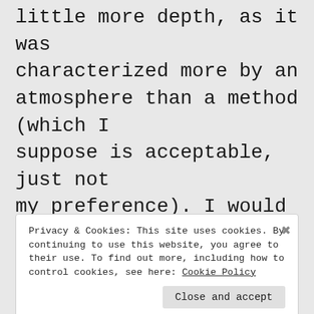little more depth, as it was characterized more by an atmosphere than a method (which I suppose is acceptable, just not my preference). I would have also liked to have seen a few more anecdotal scenes. I loved the characters and the setting-I want more description of the everyday
Privacy & Cookies: This site uses cookies. By continuing to use this website, you agree to their use. To find out more, including how to control cookies, see here: Cookie Policy